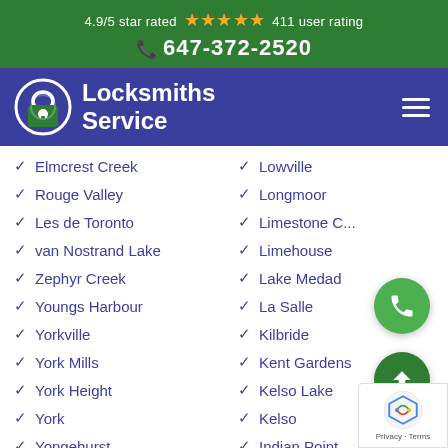4.9/5 star rated ★★★★★ 411 user rating
📞 647-372-2520
[Figure (logo): Locksmiths Service logo with padlock icon on blue background]
Elmcrest Creek
Lowville
Rouge Valley
Longmoor
Les de Toronto
Limestone C...
van Nostrand Lake
Limehouse
Zephyr Creek
Lake Medad
Youngs Harbour
La Salle
Yorkville
Kilbride
York Mills
Kent Gardens
York Height
Kelso Lake
York
Kelso
Yongehurst
Indian Point